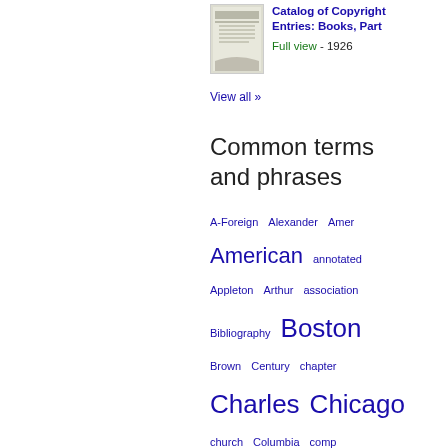[Figure (illustration): Thumbnail of a book cover for Catalog of Copyright Entries: Books, Part]
Catalog of Copyright Entries: Books, Part
Full view - 1926
View all »
Common terms and phrases
A-Foreign  Alexander  Amer  American  annotated  Appleton  Arthur  association  Bibliography  Boston  Brown  Century  chapter  Charles  Chicago  church  Columbia  comp  containing  Copyright is claimed  course  court  cover  diagrs  Doran